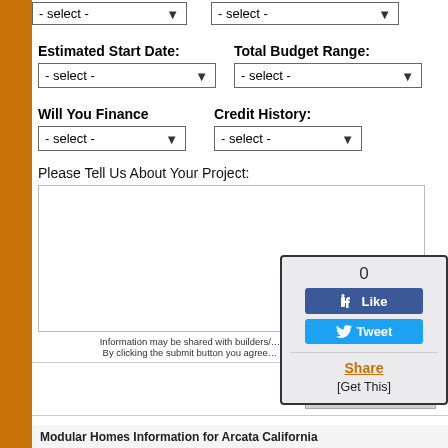- select -
- select -
Estimated Start Date:
Total Budget Range:
Will You Finance
Credit History:
Please Tell Us About Your Project:
Information may be shared with builders/... By clicking the submit button you agree...
[Figure (screenshot): Social sharing widget showing Like count of 0, a blue Like button, a blue Tweet button, a Share link, and [Get This] text]
Submit
Modular Homes Information for Arcata California